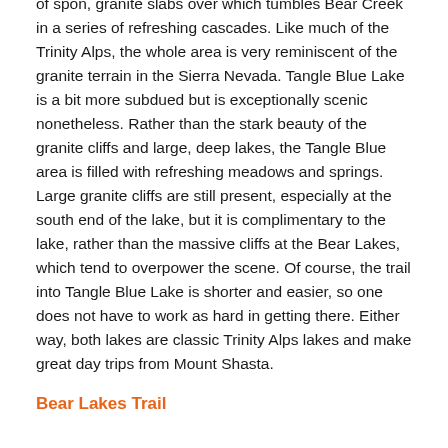of spon, granite slabs over which tumbles Bear Creek in a series of refreshing cascades. Like much of the Trinity Alps, the whole area is very reminiscent of the granite terrain in the Sierra Nevada. Tangle Blue Lake is a bit more subdued but is exceptionally scenic nonetheless. Rather than the stark beauty of the granite cliffs and large, deep lakes, the Tangle Blue area is filled with refreshing meadows and springs. Large granite cliffs are still present, especially at the south end of the lake, but it is complimentary to the lake, rather than the massive cliffs at the Bear Lakes, which tend to overpower the scene. Of course, the trail into Tangle Blue Lake is shorter and easier, so one does not have to work as hard in getting there. Either way, both lakes are classic Trinity Alps lakes and make great day trips from Mount Shasta.
Bear Lakes Trail